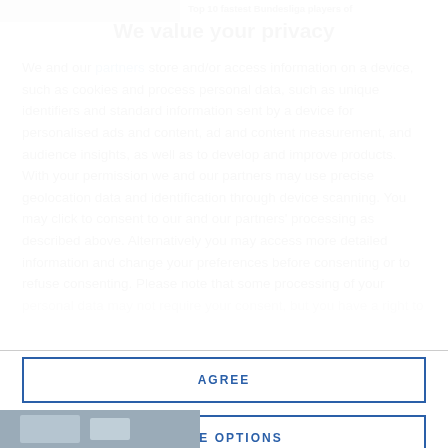[Figure (photo): Partial view of a Bundesliga players image cropped at the top of the page]
Top 10 fastest Bundesliga players of
We value your privacy
We and our partners store and/or access information on a device, such as cookies and process personal data, such as unique identifiers and standard information sent by a device for personalised ads and content, ad and content measurement, and audience insights, as well as to develop and improve products. With your permission we and our partners may use precise geolocation data and identification through device scanning. You may click to consent to our and our partners' processing as described above. Alternatively you may access more detailed information and change your preferences before consenting or to refuse consenting. Please note that some processing of your personal data may not require your consent, but you have a right to
AGREE
MORE OPTIONS
[Figure (photo): Partial view of a Bundesliga players image cropped at the bottom of the page]